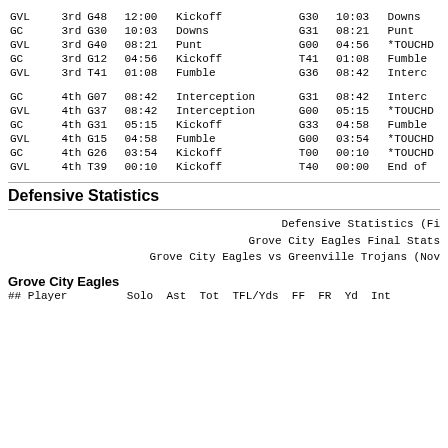| Team | Qtr | Pos | Time | How Gained | Endpos | EndTime | How Lost |
| --- | --- | --- | --- | --- | --- | --- | --- |
| GVL | 3rd | G48 | 12:00 | Kickoff | G30 | 10:03 | Downs |
| GC | 3rd | G30 | 10:03 | Downs | G31 | 08:21 | Punt |
| GVL | 3rd | G40 | 08:21 | Punt | G00 | 04:56 | *TOUCHD |
| GC | 3rd | G12 | 04:56 | Kickoff | T41 | 01:08 | Fumble |
| GVL | 3rd | T41 | 01:08 | Fumble | G36 | 08:42 | Interc |
| GC | 4th | G07 | 08:42 | Interception | G31 | 08:42 | Interc |
| GVL | 4th | G37 | 08:42 | Interception | G00 | 05:15 | *TOUCHD |
| GC | 4th | G31 | 05:15 | Kickoff | G33 | 04:58 | Fumble |
| GVL | 4th | G15 | 04:58 | Fumble | G00 | 03:54 | *TOUCHD |
| GC | 4th | G26 | 03:54 | Kickoff | T00 | 00:10 | *TOUCHD |
| GVL | 4th | T39 | 00:10 | Kickoff | T40 | 00:00 | End of |
Defensive Statistics
Defensive Statistics (Fi
Grove City Eagles Final Stats
Grove City Eagles vs Greenville Trojans (Nov
Grove City Eagles
## Player         Solo  Ast  Tot  TFL/Yds  FF  FR  Yd  Int